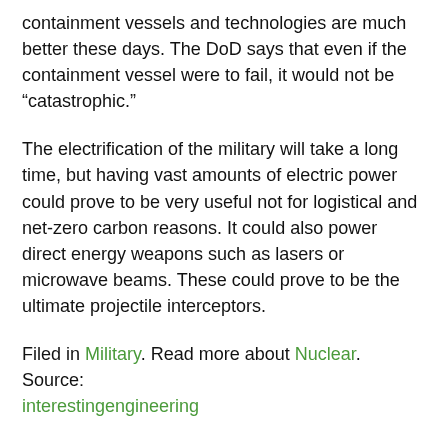containment vessels and technologies are much better these days. The DoD says that even if the containment vessel were to fail, it would not be “catastrophic.”
The electrification of the military will take a long time, but having vast amounts of electric power could prove to be very useful not for logistical and net-zero carbon reasons. It could also power direct energy weapons such as lasers or microwave beams. These could prove to be the ultimate projectile interceptors.
Filed in Military. Read more about Nuclear. Source: interestingengineering